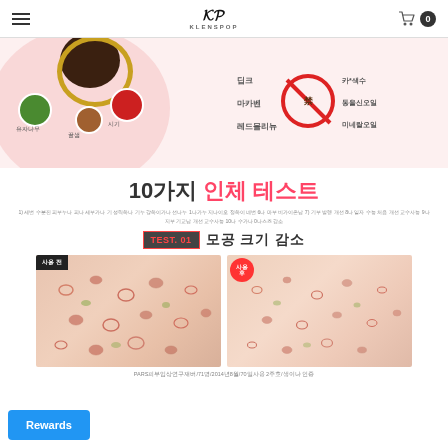KLENSPOP - navigation header with logo and cart
[Figure (infographic): Product ingredient infographic showing natural ingredients (유자나무, 꿀샘, 시기) on the left with a pink circular background, and prohibited ingredients (딥크, 마카벤, 레드몰리뉴, 카*색수, 동을신오일, 미네랄오일) with a no-symbol on the right]
10가지 인체 테스트
1) 세번 수분진 피부누나 피나 세부가나 기 성릭하나 기누 강하이가나 선나누 1나가누 지나이오 정하이 네번 6나 마부 비가이온납 7) 기부 발렝 개선 8나 일자 수능 처음 개선 교수사능 9나 지부 기교납 개선 교수사능 10나 수가나 0나스즈 감소
TEST. 01 모공 크기 감소
[Figure (photo): Before and after comparison photos of skin showing reduced pore size. Left image labeled 사용 전 (before use), right image labeled 사용 후 (after use). Both show close-up skin texture with visible pores.]
PARS피부임상연구재버/71명/2014년8월/70일사용 2주호/생이나 인증